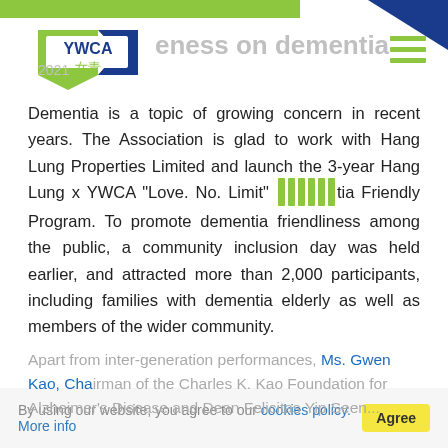YWCA 女青 — awareness on dementia — 2021
Dementia is a topic of growing concern in recent years. The Association is glad to work with Hang Lung Properties Limited and launch the 3-year Hang Lung x YWCA "Love. No. Limit" Dementia Friendly Program. To promote dementia friendliness among the public, a community inclusion day was held earlier, and attracted more than 2,000 participants, including families with dementia elderly as well as members of the wider community.
Apart from inter-generation performances, Ms. Gwen Kao, Chairman of the Charles K. Kao Foundation for Alzheimer's Disease and Dean Felicitas Yip Seen...